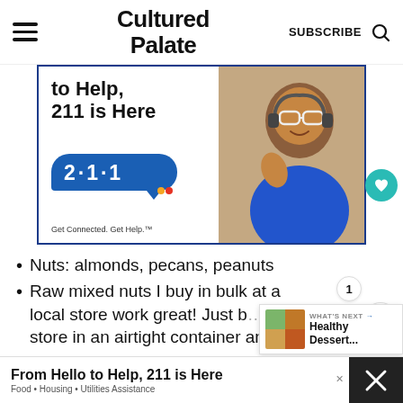Cultured Palate
[Figure (photo): Advertisement banner for 211 helpline showing 'to Help, 211 is Here' text with 211 logo bubble and a smiling woman wearing a headset on the right side]
Nuts: almonds, pecans, peanuts
Raw mixed nuts I buy in bulk at a local store work great! Just b... store in an airtight container and the
[Figure (infographic): What's Next promo showing Healthy Dessert...]
[Figure (infographic): Bottom advertisement: From Hello to Help, 211 is Here. Food • Housing • Utilities Assistance]